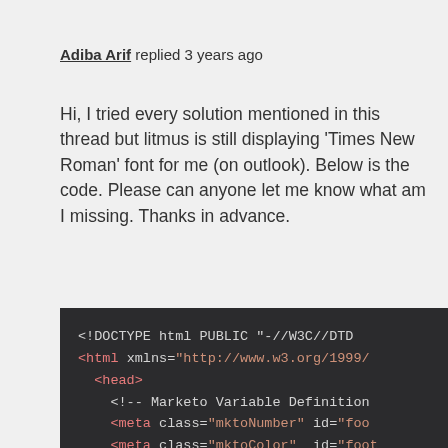Adiba Arif replied 3 years ago
Hi, I tried every solution mentioned in this thread but litmus is still displaying 'Times New Roman' font for me (on outlook). Below is the code. Please can anyone let me know what am I missing. Thanks in advance.
[Figure (screenshot): Code block showing HTML source code with DOCTYPE, html, head tags and several meta tags with Marketo classes (mktoNumber, mktoColor, mktoString) on a dark background]